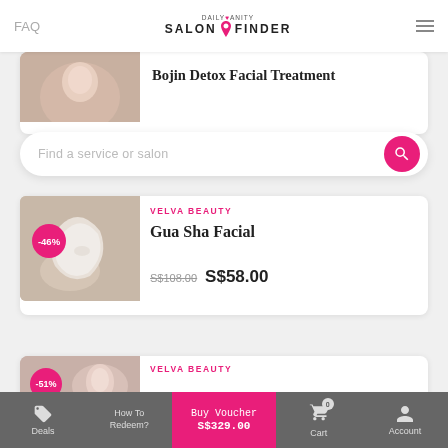FAQ | DAILY VANITY SALON FINDER
Bojin Detox Facial Treatment
Find a service or salon
VELVA BEAUTY
Gua Sha Facial
S$108.00  S$58.00
VELVA BEAUTY
Deals  How To Redeem?  Buy Voucher S$329.00  Cart 0  Account